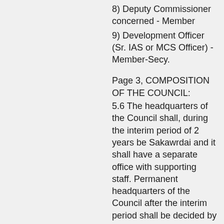8) Deputy Commissioner concerned - Member
9) Development Officer (Sr. IAS or MCS Officer) - Member-Secy.
Page 3, COMPOSITION OF THE COUNCIL:
5.6 The headquarters of the Council shall, during the interim period of 2 years be Sakawrdai and it shall have a separate office with supporting staff. Permanent headquarters of the Council after the interim period shall be decided by the Government in consultation with the Interim Council. No salary or TA/DA will be admissible to the Vice Chairman and he will draw his salary and TA/DA as MLA from the Budget of the Mizoram Legislative Assembly. The other